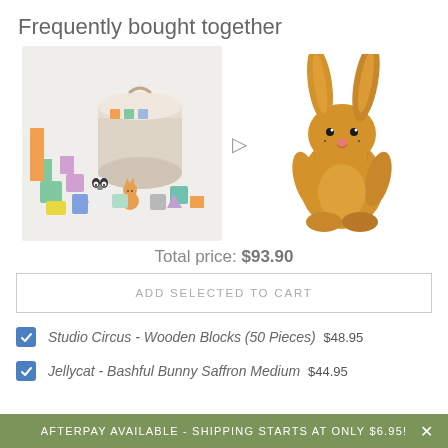Frequently bought together
[Figure (photo): Studio Circus Wooden Blocks (50 Pieces) - colorful wooden building blocks and animal figurines with a round storage container]
[Figure (photo): Jellycat Bashful Bunny Saffron Medium - golden/saffron colored stuffed plush bunny toy]
Total price: $93.90
ADD SELECTED TO CART
Studio Circus - Wooden Blocks (50 Pieces) $48.95
Jellycat - Bashful Bunny Saffron Medium $44.95
AFTERPAY AVAILABLE - SHIPPING STARTS AT ONLY $6.95!